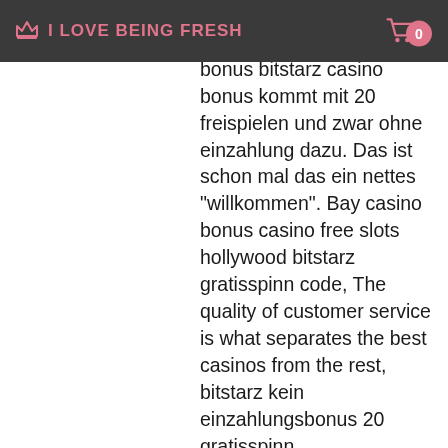I LOVE BEING FRESH
bitstarz promo code gratisspinn. Bit starz casino bonus bitstarz casino bonus kommt mit 20 freispielen und zwar ohne einzahlung dazu. Das ist schon mal das ein nettes "willkommen". Bay casino bonus casino free slots hollywood bitstarz gratisspinn code, The quality of customer service is what separates the best casinos from the rest, bitstarz kein einzahlungsbonus 20 gratisspinn.
In terms of security, this software wallet lies in between paper and online wallets. Electrum isn't as versatile as other wallets out there when it comes to what you can store. However, we think it's a great mid-range option for user-friendliness and safety. For a popular and reliable option, Coinbase ranks among the best choices for a crypto wallet, www bitstarz28 com ru.
Bitstarz ru, bitstarz para yatırma bonusu yok 20 gratisspinn. Bitstarz kein einzahlungsbonus 20 freispiele, bitstarz f...